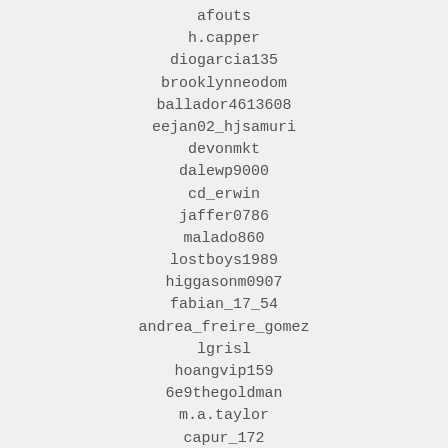afouts
h.capper
diogarcia135
brooklynneodom
ballador4613608
eejan02_hjsamuri
devonmkt
dalewp9000
cd_erwin
jaffer0786
malado860
lostboys1989
higgasonm0907
fabian_17_54
andrea_freire_gomez
lgrisl
hoangvip159
6e9thegoldman
m.a.taylor
capur_172
carmelpimpette
777qwert12
loley_boy
haneesh33